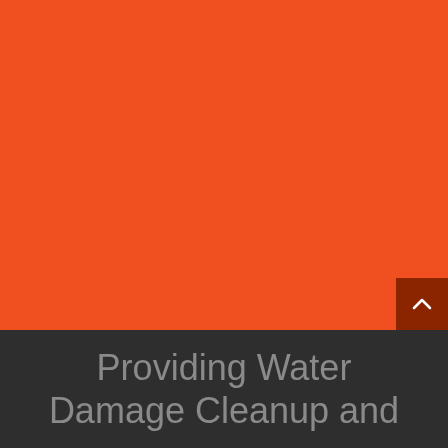[Figure (illustration): Large solid orange/red-orange rectangle filling the upper portion of the page, with a dark brownish-red scroll-to-top button in the lower right corner containing a white upward chevron arrow.]
Providing Water Damage Cleanup and